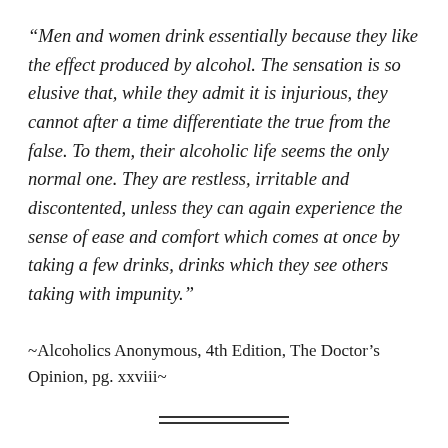“Men and women drink essentially because they like the effect produced by alcohol. The sensation is so elusive that, while they admit it is injurious, they cannot after a time differentiate the true from the false. To them, their alcoholic life seems the only normal one. They are restless, irritable and discontented, unless they can again experience the sense of ease and comfort which comes at once by taking a few drinks, drinks which they see others taking with impunity.”
~Alcoholics Anonymous, 4th Edition, The Doctor’s Opinion, pg. xxviii~